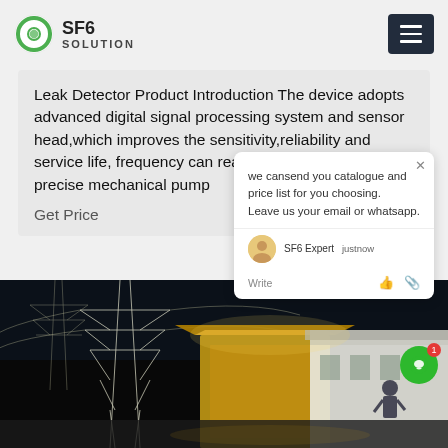SF6 SOLUTION
Leak Detector Product Introduction The device adopts advanced digital signal processing system and sensor head,which improves the sensitivity,reliability and service life, frequency can reache 2000 times/s. precise mechanical pump
Get Price
[Figure (screenshot): Chat popup widget showing message: 'we cansend you catalogue and price list for you choosing. Leave us your email or whatsapp.' with SF6 Expert avatar, justnow timestamp, and Write/thumbs up/attach icons]
[Figure (photo): Nighttime industrial photo of electrical transmission towers/pylons and what appears to be a transformer or electrical substation building with yellow/gold coloring, lit against dark sky. Workers visible at right side.]